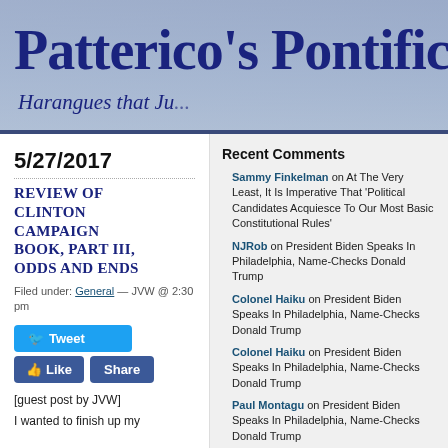Patterico's Pontifica... Harangues that Ju...
5/27/2017
Review of Clinton Campaign Book, Part III, Odds and Ends
Filed under: General — JVW @ 2:30 pm
[guest post by JVW]
I wanted to finish up my
Recent Comments
Sammy Finkelman on At The Very Least, It Is Imperative That 'Political Candidates Acquiesce To Our Most Basic Constitutional Rules'
NJRob on President Biden Speaks In Philadelphia, Name-Checks Donald Trump
Colonel Haiku on President Biden Speaks In Philadelphia, Name-Checks Donald Trump
Colonel Haiku on President Biden Speaks In Philadelphia, Name-Checks Donald Trump
Paul Montagu on President Biden Speaks In Philadelphia, Name-Checks Donald Trump
Colonel Haiku on President Biden Speaks In Philadelphia, Name-Checks Donald Trump